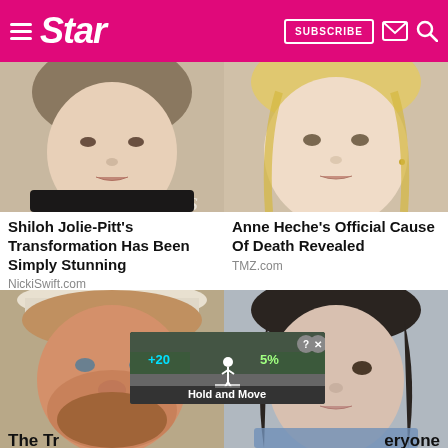Star — SUBSCRIBE
[Figure (photo): Close-up of a young woman's face (Shiloh Jolie-Pitt)]
Shiloh Jolie-Pitt's Transformation Has Been Simply Stunning
NickiSwift.com
[Figure (photo): Close-up of a blonde woman's face (Anne Heche)]
Anne Heche's Official Cause Of Death Revealed
TMZ.com
[Figure (photo): Close-up of a smiling man with beard wearing a hat (Toby Keith)]
[Figure (photo): Close-up of a woman with dark hair (Jennifer Garner)]
The Tr
[Figure (screenshot): Advertisement overlay: road scene with figure, text 'Hold and Move']
eryone